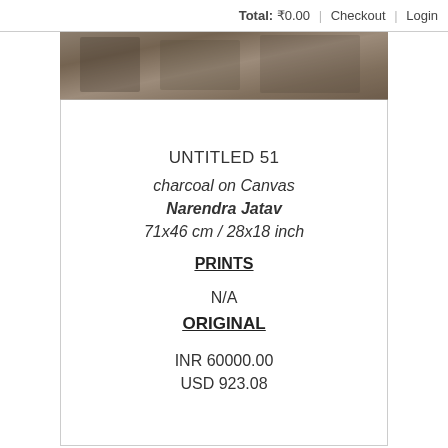Total: ₹0.00 | Checkout | Login
[Figure (photo): Partial view of a charcoal artwork on canvas, showing the top portion of the painting with dark earthy tones.]
UNTITLED 51
charcoal on Canvas
Narendra Jatav
71x46 cm / 28x18 inch
PRINTS
N/A
ORIGINAL
INR 60000.00
USD 923.08